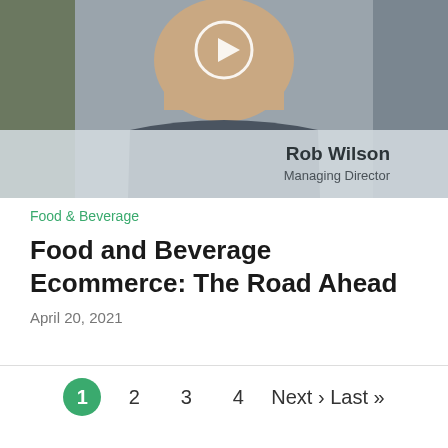[Figure (screenshot): Video thumbnail showing a man's face with a play button overlay. A name bar at the bottom reads 'Rob Wilson, Managing Director' on a semi-transparent background.]
Food & Beverage
Food and Beverage Ecommerce: The Road Ahead
April 20, 2021
1  2  3  4  Next › Last »